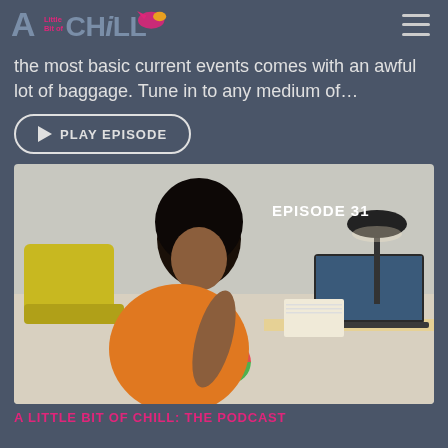A Little Bit of Chill
the most basic current events comes with an awful lot of baggage. Tune in to any medium of…
PLAY EPISODE
[Figure (photo): Woman in orange shirt writing at a desk with a laptop. 'EPISODE 31' text overlay in top right.]
A LITTLE BIT OF CHILL: THE PODCAST